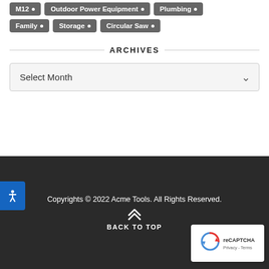M12
Outdoor Power Equipment
Plumbing
Family
Storage
Circular Saw
ARCHIVES
Select Month
[Figure (other): Accessibility icon button (blue background with human figure icon)]
Copyrights © 2022 Acme Tools. All Rights Reserved.
BACK TO TOP
[Figure (logo): reCAPTCHA badge with Privacy - Terms text]